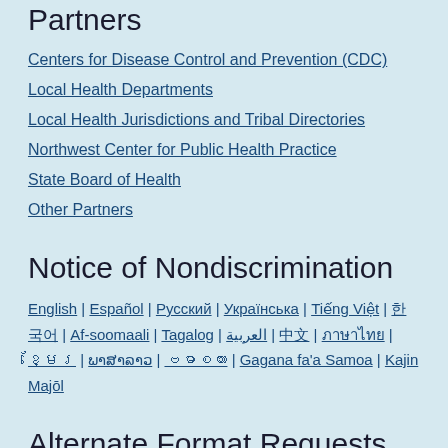Partners
Centers for Disease Control and Prevention (CDC)
Local Health Departments
Local Health Jurisdictions and Tribal Directories
Northwest Center for Public Health Practice
State Board of Health
Other Partners
Notice of Nondiscrimination
English | Español | Русский | Українська | Tiếng Việt | 한국어 | Af-soomaali | Tagalog | العربية | 中文 | ภาษาไทย | ខ្មែរ | ພາສາລາວ | ဗမာစကား | Gagana fa'a Samoa | Kajin Majōl
Alternate Format Requests
For people with disabilities, Web documents in other formats are available on request. To submit a request, please contact us at civil.rights@doh.wa.gov